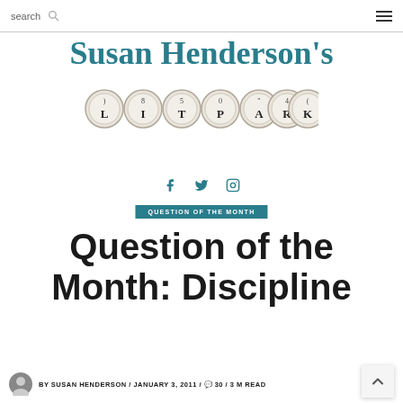search  ☰
[Figure (logo): Susan Henderson's LitPark blog logo with teal serif text and typewriter key imagery]
[Figure (other): Social media icons: Facebook, Twitter, Instagram in teal]
QUESTION OF THE MONTH
Question of the Month: Discipline
BY SUSAN HENDERSON / JANUARY 3, 2011 / 30 / 3 M READ